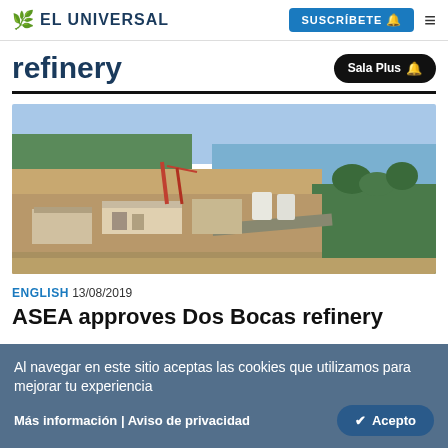🌿 EL UNIVERSAL | SUSCRÍBETE 🔔 ≡
refinery
[Figure (photo): Aerial view of Dos Bocas refinery construction site with industrial buildings, cranes, and coastal scenery]
ENGLISH 13/08/2019
ASEA approves Dos Bocas refinery
Al navegar en este sitio aceptas las cookies que utilizamos para mejorar tu experiencia
Más información | Aviso de privacidad